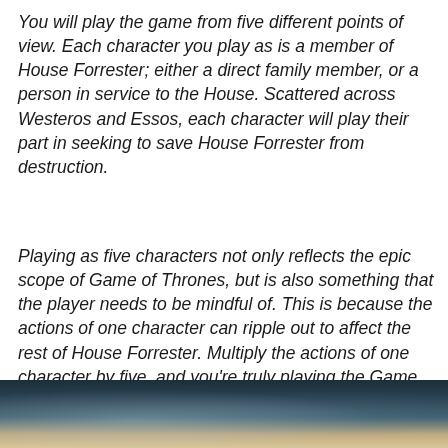You will play the game from five different points of view. Each character you play as is a member of House Forrester; either a direct family member, or a person in service to the House. Scattered across Westeros and Essos, each character will play their part in seeking to save House Forrester from destruction.
Playing as five characters not only reflects the epic scope of Game of Thrones, but is also something that the player needs to be mindful of. This is because the actions of one character can ripple out to affect the rest of House Forrester. Multiply the actions of one character by five, and you're truly playing the Game of Thrones…where you win, or you die.
[Figure (photo): Dark atmospheric scene, partial view of what appears to be a game or film screenshot, with dark forest/castle tones and a bright central light source]